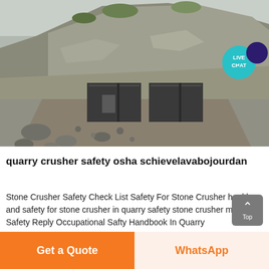[Figure (photo): Quarry site with rocky hillside, crushed stone terrain, and two large dark rectangular industrial crusher/processing units in the middle ground. Rocky debris in foreground.]
quarry crusher safety osha schievelavabojourdan
Stone Crusher Safety Check List Safety For Stone Crusher health and safety for stone crusher in quarry safety stone crusher manual Safety Reply Occupational Safty Handbook In Quarry